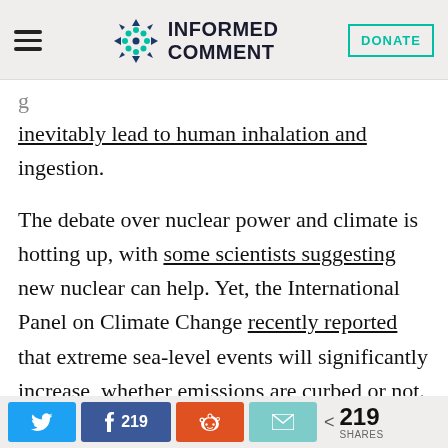Informed Comment
inevitably lead to human inhalation and ingestion.
The debate over nuclear power and climate is hotting up, with some scientists suggesting new nuclear can help. Yet, the International Panel on Climate Change recently reported that extreme sea-level events will significantly increase, whether emissions are curbed or not. All coastal nuclear plants, including Barakah, will be increasingly
Twitter share | Facebook 219 | Reddit share | Email share | < 219 SHARES